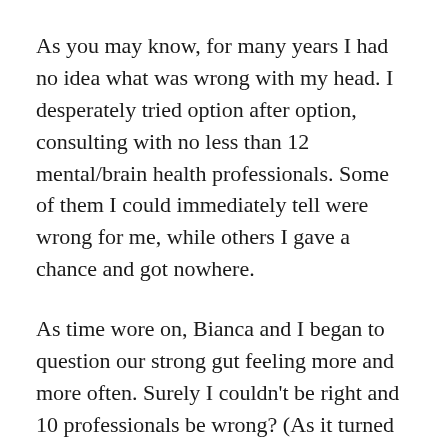As you may know, for many years I had no idea what was wrong with my head. I desperately tried option after option, consulting with no less than 12 mental/brain health professionals. Some of them I could immediately tell were wrong for me, while others I gave a chance and got nowhere.
As time wore on, Bianca and I began to question our strong gut feeling more and more often. Surely I couldn't be right and 10 professionals be wrong? (As it turned out, they were failing me big time.) Not to mention the fact that I have a strong tendency to see the best in people and give them a chance. If I felt they were useless, they must be really useless